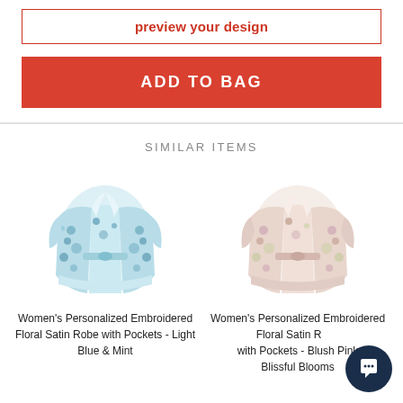preview your design
ADD TO BAG
SIMILAR ITEMS
[Figure (photo): Women's Personalized Embroidered Floral Satin Robe with Pockets - Light Blue & Mint, showing a light blue floral kimono-style robe]
Women's Personalized Embroidered Floral Satin Robe with Pockets - Light Blue & Mint
[Figure (photo): Women's Personalized Embroidered Floral Satin Robe with Pockets - Blush Pink Blissful Blooms, showing a blush pink floral kimono-style robe]
Women's Personalized Embroidered Floral Satin Robe with Pockets - Blush Pink Blissful Blooms